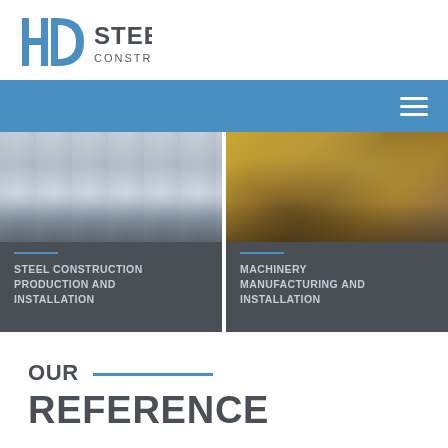[Figure (logo): HD Steel Construction company logo with blue H and D letters and grey STEEL CONSTRUCTION text]
[Figure (infographic): Blue navigation bar with hamburger menu icon on right]
[Figure (photo): Two service cards side by side. Left card shows interior of steel construction warehouse with reflective floors and columns. Right card shows machinery manufacturing equipment in yellow/brown tones. Each card has a blue divider line and uppercase text label below the photo.]
STEEL CONSTRUCTION PRODUCTION AND INSTALLATION
MACHINERY MANUFACTURING AND INSTALLATION
OUR REFERENCE